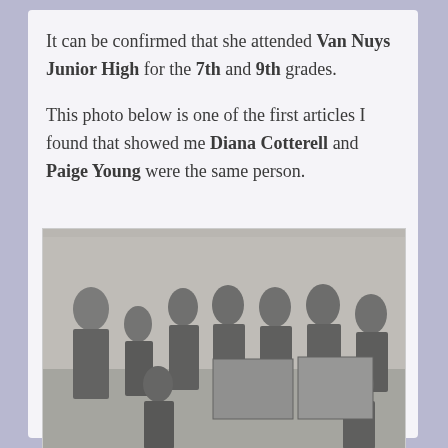It can be confirmed that she attended Van Nuys Junior High for the 7th and 9th grades.
This photo below is one of the first articles I found that showed me Diana Cotterell and Paige Young were the same person.
[Figure (photo): A black and white group photograph showing approximately 7-8 people, appearing to be from mid-20th century, with some individuals holding what appear to be artworks or posters.]